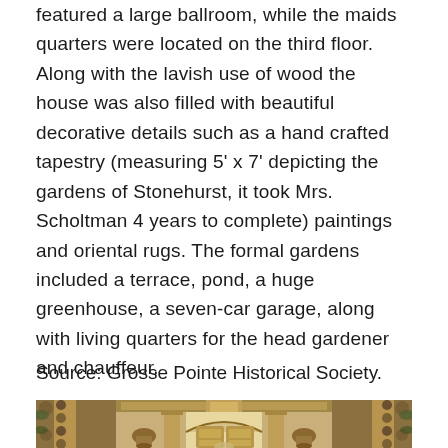featured a large ballroom, while the maids quarters were located on the third floor. Along with the lavish use of wood the house was also filled with beautiful decorative details such as a hand crafted tapestry (measuring 5' x 7' depicting the gardens of Stonehurst, it took Mrs. Scholtman 4 years to complete) paintings and oriental rugs. The formal gardens included a terrace, pond, a huge greenhouse, a seven-car garage, along with living quarters for the head gardener and chauffeur.
Source: Grosse Pointe Historical Society.
[Figure (photo): Interior photograph of an ornate room with elaborate wooden staircase, decorative columns, carved balustrades adorned with foliage/flowers, and ornamental architectural details in a grand historic mansion.]